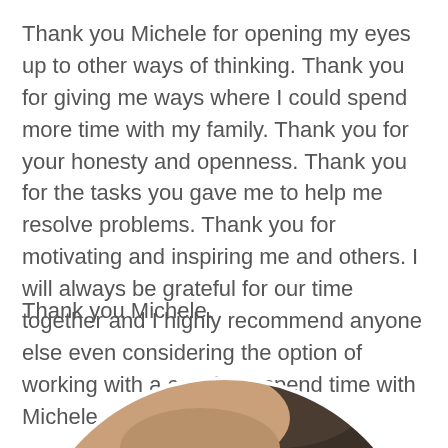Thank you Michele for opening my eyes up to other ways of thinking. Thank you for giving me ways where I could spend more time with my family. Thank you for your honesty and openness. Thank you for the tasks you gave me to help me resolve problems. Thank you for motivating and inspiring me and others. I will always be grateful for our time together and I highly recommend anyone else even considering the option of working with a coach, to spend time with Michele.
Thank you Michele.
[Figure (photo): Partial view of a person's head and shoulder from below, showing skin and dark hair, cropped at the bottom of the page in a circular/rounded frame.]